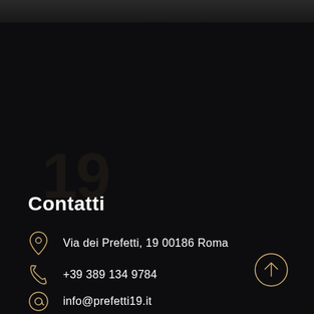Contatti
Via dei Prefetti, 19 00186 Roma
+39 389 134 9784
info@prefetti19.it